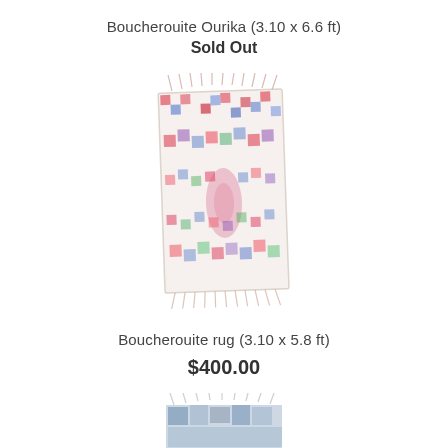Boucherouite Ourika (3.10 x 6.6 ft)
Sold Out
[Figure (photo): A colorful Boucherouite Moroccan rug with patchwork pattern of red, blue, green, purple and white squares and floral motifs, with fringe at top and bottom.]
Boucherouite rug (3.10 x 5.8 ft)
$400.00
[Figure (photo): Partial view of a second Boucherouite rug, mostly blue/grey tones, cropped at bottom edge of page.]